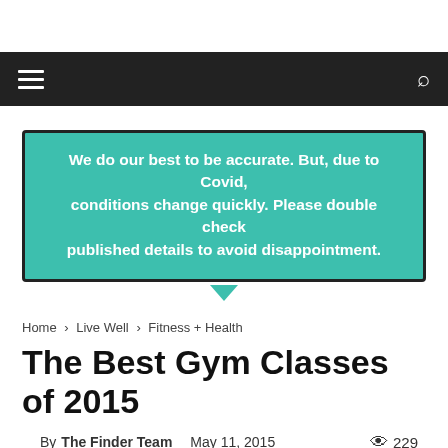☰  🔍
We do our best to be accurate. But, due to Covid, conditions change quickly. Please double check published details to avoid disappointment.
Home › Live Well › Fitness + Health
The Best Gym Classes of 2015
By The Finder Team   May 11, 2015   👁 229